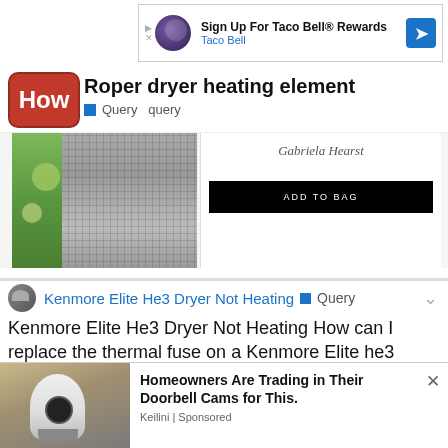[Figure (screenshot): Taco Bell advertisement banner with logo and arrow icon. Text: Sign Up For Taco Bell® Rewards / Taco Bell]
[Figure (logo): How.com logo - red rounded rectangle with white HOW text]
Roper dryer heating element
Query  query
[Figure (photo): Photo of person wearing gray checked trousers with green bokeh background on left side, and Gabriela Hearst brand label with ADD TO BAG black button on right side]
Kenmore Elite He3 Dryer Not Heating  Query
Kenmore Elite He3 Dryer Not Heating How can I replace the thermal fuse on a Kenmore Elite he3 tumble dryer?
[Figure (photo): Advertisement popup showing a hand holding a light bulb camera device. Ad headline: Homeowners Are Trading in Their Doorbell Cams for This. Source: Keilini | Sponsored]
powe reset
o ntents